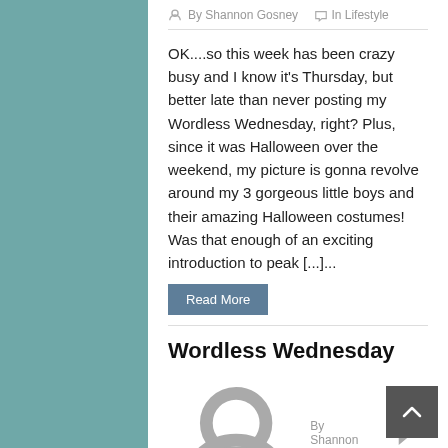By Shannon Gosney   In Lifestyle
OK....so this week has been crazy busy and I know it's Thursday, but better late than never posting my Wordless Wednesday, right? Plus, since it was Halloween over the weekend, my picture is gonna revolve around my 3 gorgeous little boys and their amazing Halloween costumes!  Was that enough of an exciting introduction to peak [...]...
Read More
Wordless Wednesday
By Shannon Gosney   In Lifestyle